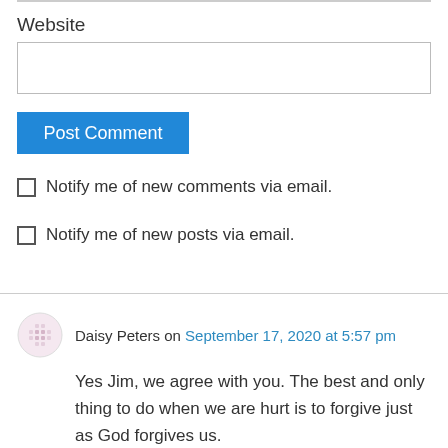Website
Post Comment
Notify me of new comments via email.
Notify me of new posts via email.
Daisy Peters on September 17, 2020 at 5:57 pm
Yes Jim, we agree with you. The best and only thing to do when we are hurt is to forgive just as God forgives us.